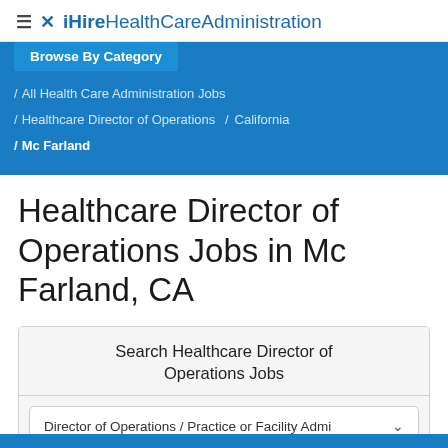≡ ✕ iHireHealthCareAdministration
Browse By Category
/ All Health Care Administration Jobs / Healthcare Director of Operations / California / Mc Farland
Healthcare Director of Operations Jobs in Mc Farland, CA
Search Healthcare Director of Operations Jobs
Director of Operations / Practice or Facility Admi ∨